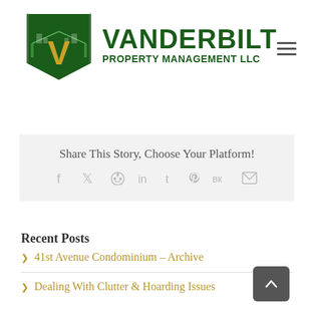[Figure (logo): Vanderbilt Property Management LLC logo with green shield/city skyline emblem and gold V letter]
Share This Story, Choose Your Platform!
[Figure (infographic): Social sharing icons: Facebook, Twitter, Reddit, LinkedIn, Tumblr, Pinterest, VK, Email]
Recent Posts
> 41st Avenue Condominium – Archive
> Dealing With Clutter & Hoarding Issues